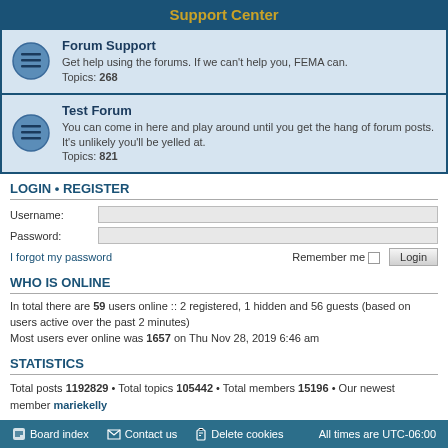Support Center
Forum Support
Get help using the forums. If we can't help you, FEMA can.
Topics: 268
Test Forum
You can come in here and play around until you get the hang of forum posts. It's unlikely you'll be yelled at.
Topics: 821
LOGIN • REGISTER
Username:
Password:
I forgot my password
Remember me
WHO IS ONLINE
In total there are 59 users online :: 2 registered, 1 hidden and 56 guests (based on users active over the past 2 minutes)
Most users ever online was 1657 on Thu Nov 28, 2019 6:46 am
STATISTICS
Total posts 1192829 • Total topics 105442 • Total members 15196 • Our newest member mariekelly
Board index   Contact us   Delete cookies   All times are UTC-06:00